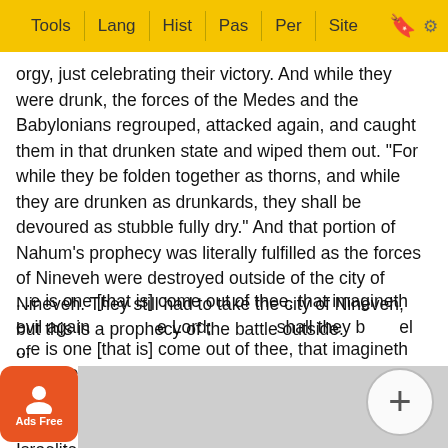Tools | Lang | Hist | Pas | Per | Site
orgy, just celebrating their victory. And while they were drunk, the forces of the Medes and the Babylonians regrouped, attacked again, and caught them in that drunken state and wiped them out. "For while they be folden together as thorns, and while they are drunken as drunkards, they shall be devoured as stubble fully dry." And that portion of Nahum's prophecy was literally fulfilled as the forces of Nineveh were destroyed outside of the city of Nineveh. They still had to take the city of Nineveh, but this is a prophecy of the battle outside.
In verse eleven, he is making this reference to the Rabashak who came with his blasphemous letter from Sennacerib, blaspheming the God in whom the Israelites were trusting.
...e is one [that is] come out of thee, that imagineth evil again...e Lord;...shall they b...el of